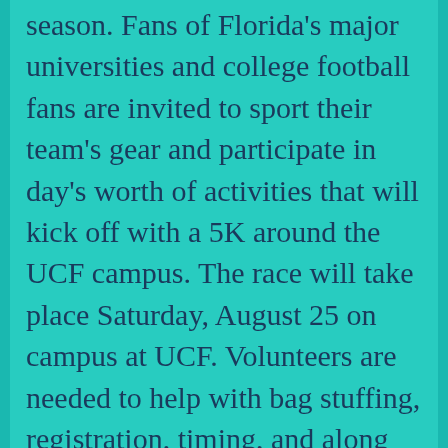season. Fans of Florida's major universities and college football fans are invited to sport their team's gear and participate in day's worth of activities that will kick off with a 5K around the UCF campus. The race will take place Saturday, August 25 on campus at UCF. Volunteers are needed to help with bag stuffing, registration, timing, and along the course at water stops.
Here are the days/shifts that volunteers are needed: